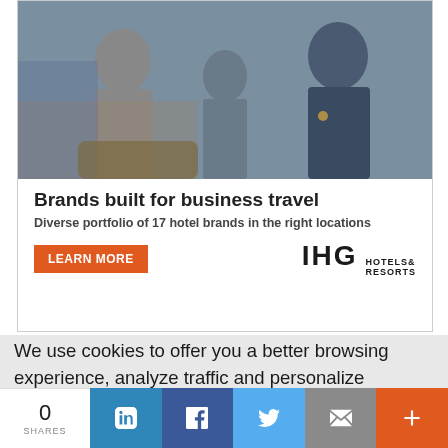[Figure (photo): IHG Hotels & Resorts advertisement banner showing people in a hotel lobby setting with text 'Brands built for business travel' and 'Diverse portfolio of 17 hotel brands in the right locations' with a Learn More button]
We use cookies to offer you a better browsing experience, analyze traffic and personalize content. Read how we use and protect your data in our privacy policy. Do you accept cookies?
Accept
Decline
0 SHARES